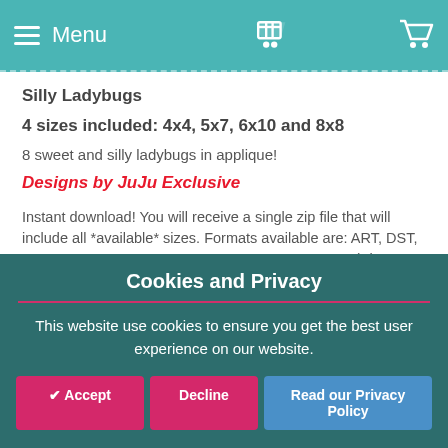Menu
Silly Ladybugs
4 sizes included: 4x4, 5x7, 6x10 and 8x8
8 sweet and silly ladybugs in applique!
Designs by JuJu Exclusive
Instant download! You will receive a single zip file that will include all *available* sizes. Formats available are: ART, DST, EXP, JEF, HUS, PCS, PES, SEW, VIP, VP3 & XXX. (Please note that PCS and SEW formats will only include 4x4 files when available for the design)
Cookies and Privacy
This website use cookies to ensure you get the best user experience on our website.